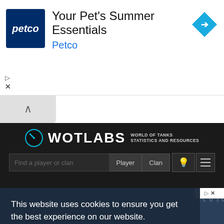[Figure (screenshot): Petco advertisement banner showing Petco logo, text 'Your Pet's Summer Essentials' and 'Petco' in blue, with a blue navigation arrow icon on the right]
[Figure (screenshot): WotLabs website header with logo (speedometer icon), WOTLABS wordmark, tagline 'WORLD OF TANKS STATISTICS AND RESOURCES', search bar with Player and Clan buttons, light bulb icon and hamburger menu]
This website uses cookies to ensure you get the best experience on our website.
Learn more
Got it!